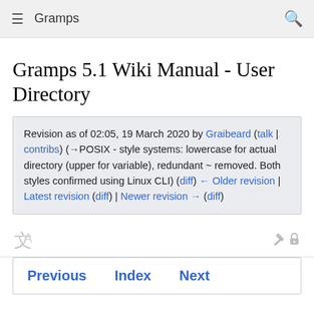Gramps
Gramps 5.1 Wiki Manual - User Directory
Revision as of 02:05, 19 March 2020 by Graibeard (talk | contribs) (→POSIX - style systems: lowercase for actual directory (upper for variable), redundant ~ removed. Both styles confirmed using Linux CLI) (diff) ← Older revision | Latest revision (diff) | Newer revision → (diff)
[Figure (other): Toolbar row with translate icon and locked edit (pencil with lock) icon]
Previous   Index   Next